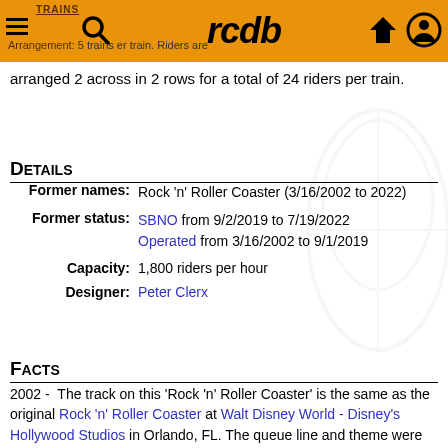TRAINS | rcdb
Arrangement: 5 trains per roller coaster per train. Riders are arranged 2 across in 2 rows for a total of 24 riders per train.
Details
| Field | Value |
| --- | --- |
| Former names: | Rock 'n' Roller Coaster (3/16/2002 to 2022) |
| Former status: | SBNO from 9/2/2019 to 7/19/2022
Operated from 3/16/2002 to 9/1/2019 |
| Capacity: | 1,800 riders per hour |
| Designer: | Peter Clerx |
Facts
2002 - The track on this 'Rock 'n' Roller Coaster' is the same as the original Rock 'n' Roller Coaster at Walt Disney World - Disney's Hollywood Studios in Orlando, FL. The queue line and theme were however very different.